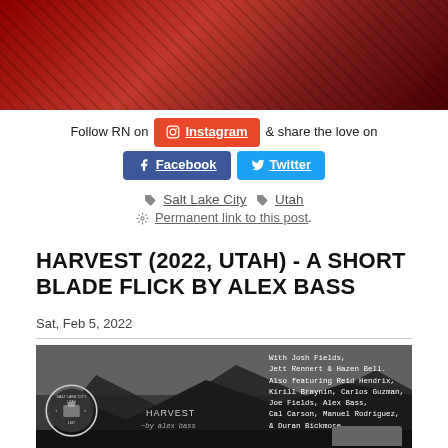[Figure (photo): Red/dark architectural photo at the top of the page]
Follow RN on Instagram & share the love on Facebook Twitter
Salt Lake City  Utah
Permanent link to this post.
HARVEST (2022, UTAH) - A SHORT BLADE FLICK BY ALEX BASS
Sat, Feb 5, 2022
[Figure (photo): Black and white photo of mountains with Salt Lake City seal and cast credits overlay reading: With Josh Fields, Jett Rennert & Hazen Bell. Also featuring Reid Hendrix, Kirill Braynin, Carlos Guzman, Joe Fields, Alex Bass, Cal Carson, Manuel Rodriguez, & Duran Bickmore. HARVEST by alex bass]